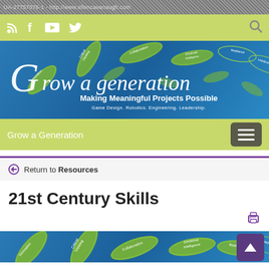UA-27757076-1 - http://www.ellencavanaugh.com
[Figure (screenshot): Social media icon bar with RSS, Facebook, YouTube, Twitter icons on yellow-green background and search icon on right]
[Figure (illustration): Grow a Generation website banner: blue background with decorative leaf shapes containing skill keywords (Innovation, Critical Thinking, Collaboration, Emotional Intelligence, Resilience, Leadership, etc.), script logo text 'Grow a generation', subtitle 'Making Meaningful Projects Possible', tagline 'Game Design. Robotics. Engineering. Leadership']
Grow a Generation
Return to Resources
21st Century Skills
[Figure (illustration): Bottom banner strip showing leaf shapes with skill keywords: Innovation, Critical Thinking, Collaboration, Emotional Intelligence, Resilience, Leadership on blue/teal background]